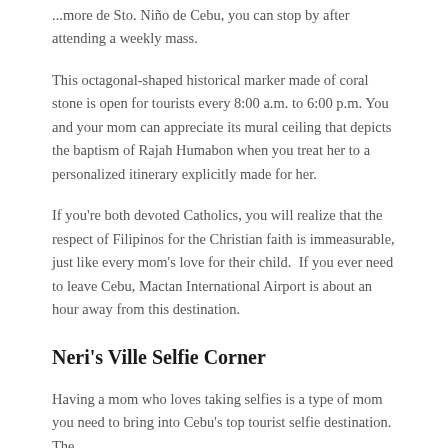...more de Sto. Niño de Cebu, you can stop by after attending a weekly mass.
This octagonal-shaped historical marker made of coral stone is open for tourists every 8:00 a.m. to 6:00 p.m. You and your mom can appreciate its mural ceiling that depicts the baptism of Rajah Humabon when you treat her to a personalized itinerary explicitly made for her.
If you're both devoted Catholics, you will realize that the respect of Filipinos for the Christian faith is immeasurable, just like every mom's love for their child.  If you ever need to leave Cebu, Mactan International Airport is about an hour away from this destination.
Neri's Ville Selfie Corner
Having a mom who loves taking selfies is a type of mom you need to bring into Cebu's top tourist selfie destination. The